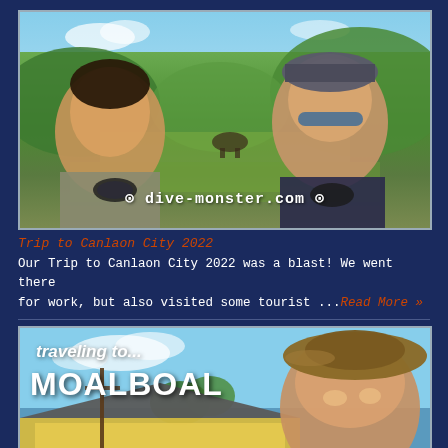[Figure (photo): Two women posing outdoors in a green agricultural landscape with hills and blue sky. A watermark reads 'dive-monster.com'. Both have dive masks hanging around their necks.]
Trip to Canlaon City 2022
Our Trip to Canlaon City 2022 was a blast! We went there for work, but also visited some tourist ...Read More »
[Figure (photo): Travel blog image with text overlay reading 'traveling to... MOALBOAL' showing a woman with a brown hat outdoors near a yellow building.]